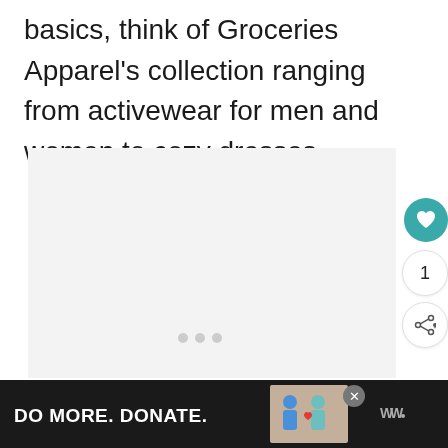basics, think of Groceries Apparel’s collection ranging from activewear for men and women to cozy dresses.
[Figure (photo): A light gray placeholder image area with three small gray dots indicating a carousel/slideshow. UI buttons on the right side include a teal heart/favorite button, a count indicator showing '1', and a share button.]
[Figure (screenshot): Dark advertisement bar at the bottom reading 'DO MORE. DONATE.' with a small illustration image and a Walgreens logo on the right.]